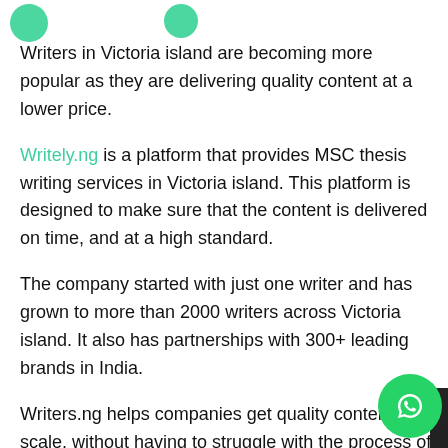[Figure (illustration): Two green circular icons/logos partially visible at the top of the page]
Writers in Victoria island are becoming more popular as they are delivering quality content at a lower price.
Writely.ng is a platform that provides MSC thesis writing services in Victoria island. This platform is designed to make sure that the content is delivered on time, and at a high standard.
The company started with just one writer and has grown to more than 2000 writers across Victoria island. It also has partnerships with 300+ leading brands in India.
Writers.ng helps companies get quality content at scale, without having to struggle with the process of finding writers who are available and skilled enough for their